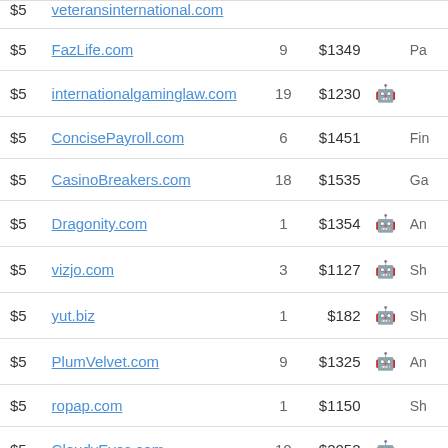| Price | Domain | Bids | Value | Icon | Category |
| --- | --- | --- | --- | --- | --- |
| $5 | veteransinternational.com |  |  |  |  |
| $5 | FazLife.com | 9 | $1349 |  | Pa |
| $5 | internationalgaminglaw.com | 19 | $1230 | 🤖 |  |
| $5 | ConcisePayroll.com | 6 | $1451 |  | Fin |
| $5 | CasinoBreakers.com | 18 | $1535 |  | Ga |
| $5 | Dragonity.com | 1 | $1354 | 🤖 | An |
| $5 | vizjo.com | 3 | $1127 | 🤖 | Sh |
| $5 | yut.biz | 1 | $182 | 🤖 | Sh |
| $5 | PlumVelvet.com | 9 | $1325 | 🤖 | An |
| $5 | ropap.com | 1 | $1150 |  | Sh |
| $5 | CloudyEyes.com | 10 | $2052 | 🤖 |  |
| $5 | insights.ws | 0 | $624 |  | Dic |